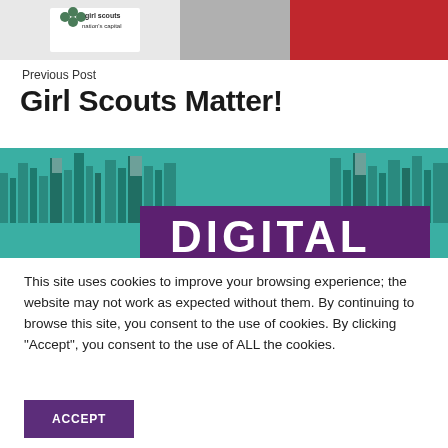[Figure (photo): Top portion of a photo showing a girl scout uniform with 'girl scouts nation's capital' logo on a white vest, with a red background.]
Previous Post
Girl Scouts Matter!
[Figure (illustration): A teal/purple banner graphic with a cityscape silhouette at top and large white text reading 'DIGITAL' on a purple background.]
This site uses cookies to improve your browsing experience; the website may not work as expected without them. By continuing to browse this site, you consent to the use of cookies. By clicking “Accept”, you consent to the use of ALL the cookies.
ACCEPT